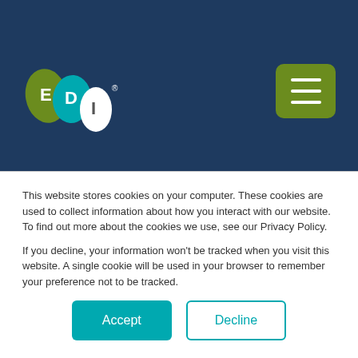[Figure (logo): EDI logo with water drop shapes in green and teal, letters E, D, I]
reliable materials throughout the industry. Even premium EPDM can occasionally experience difficulty or failure so search for the perfect membrane continues. Several alternates to EPDM have performed well in specific sites but to date premium
This website stores cookies on your computer. These cookies are used to collect information about how you interact with our website. To find out more about the cookies we use, see our Privacy Policy.

If you decline, your information won't be tracked when you visit this website. A single cookie will be used in your browser to remember your preference not to be tracked.